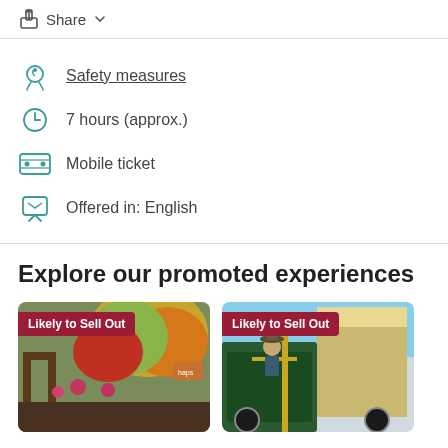Share
Safety measures
7 hours (approx.)
Mobile ticket
Offered in: English
Explore our promoted experiences
[Figure (photo): Two promotional experience cards labeled 'Likely to Sell Out'. Left card shows a garden/restaurant entrance with autumn foliage. Right card shows a man in a hat on a green horse-drawn tram/carriage.]